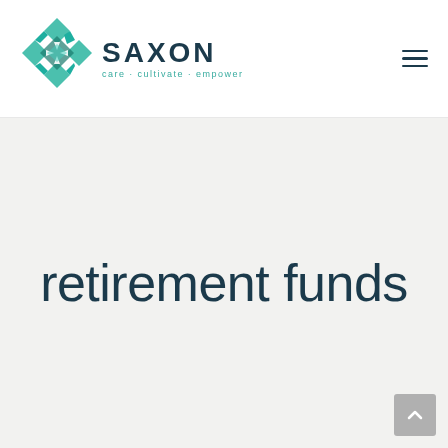[Figure (logo): Saxon logo: teal geometric diamond/cross knot emblem with 'SAXON' in dark navy bold letters and tagline 'care · cultivate · empower' in teal below]
retirement funds